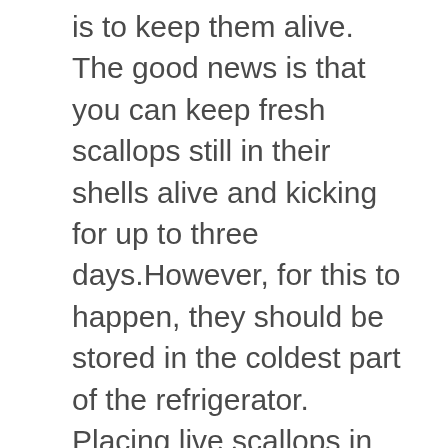is to keep them alive. The good news is that you can keep fresh scallops still in their shells alive and kicking for up to three days.However, for this to happen, they should be stored in the coldest part of the refrigerator. Placing live scallops in their shells in the freezer will kill them — they cannot survive extremely low temperatures.To make sure that live scallops in the shell will stay alive, it's a good idea to place them on some ice cubes. This is especially true if you are unsure if your fridge has the ideal temperature: between 32°F to 40°F.Since ice cubes melt and it's a terrible idea to submerge fresh scallops still in their shells in water, you should constantly check the scallops and replace the ice cubes as necessary.Worry not if you are too busy to constantly inspect the live scallops because there is a simple workaround…In a large bowl, place a smaller bowl. Place some ice cubes in the large bowl, making sure that the small bowl is surrounded